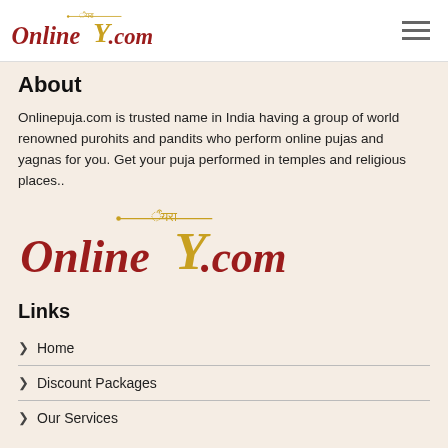OnlinePuja.com logo and navigation
About
Onlinepuja.com is trusted name in India having a group of world renowned purohits and pandits who perform online pujas and yagnas for you. Get your puja performed in temples and religious places..
[Figure (logo): OnlinePuja.com logo — stylized red and gold text with Hindi script accent]
Links
Home
Discount Packages
Our Services